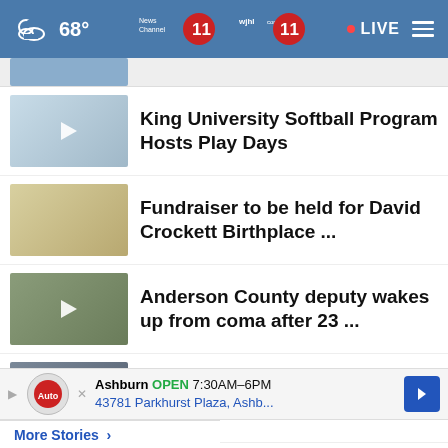68° News Channel 11 WJHL.com 11 LIVE
[Figure (screenshot): Partially visible thumbnail image at top]
King University Softball Program Hosts Play Days
Fundraiser to be held for David Crockett Birthplace ...
Anderson County deputy wakes up from coma after 23 ...
Youngkin announces plan to reverse law requiring ...
Clubhouse total loss after fire in Tellico Village
Ashburn OPEN 7:30AM-6PM 43781 Parkhurst Plaza, Ashb...
More Stories >